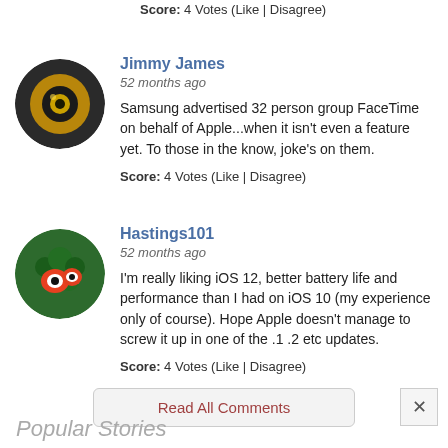Score: 4 Votes (Like | Disagree)
Jimmy James
52 months ago
Samsung advertised 32 person group FaceTime on behalf of Apple...when it isn't even a feature yet. To those in the know, joke's on them.
Score: 4 Votes (Like | Disagree)
Hastings101
52 months ago
I'm really liking iOS 12, better battery life and performance than I had on iOS 10 (my experience only of course). Hope Apple doesn't manage to screw it up in one of the .1 .2 etc updates.
Score: 4 Votes (Like | Disagree)
Read All Comments
Popular Stories